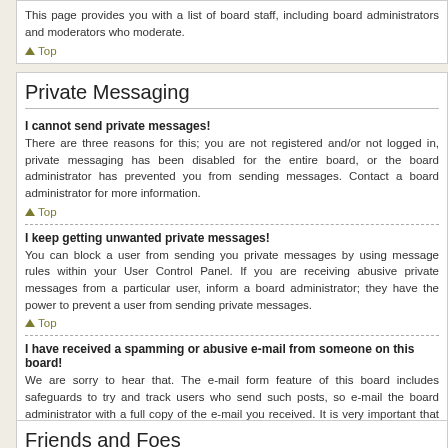This page provides you with a list of board staff, including board administrators and moderators. moderate.
Top
Private Messaging
I cannot send private messages!
There are three reasons for this; you are not registered and/or not logged in, private messaging has been disabled for the entire board, or the board administrator has prevented you from sending messages. Contact a board administrator for more information.
Top
I keep getting unwanted private messages!
You can block a user from sending you private messages by using message rules within your User Control Panel. If you are receiving abusive private messages from a particular user, inform a board administrator; they have the power to prevent a user from sending private messages.
Top
I have received a spamming or abusive e-mail from someone on this board!
We are sorry to hear that. The e-mail form feature of this board includes safeguards to try and track users who send such posts, so e-mail the board administrator with a full copy of the e-mail you received. It is very important that this includes the headers that contain the details of the user that sent the e-mail. The board administrator can then take action.
Top
Friends and Foes